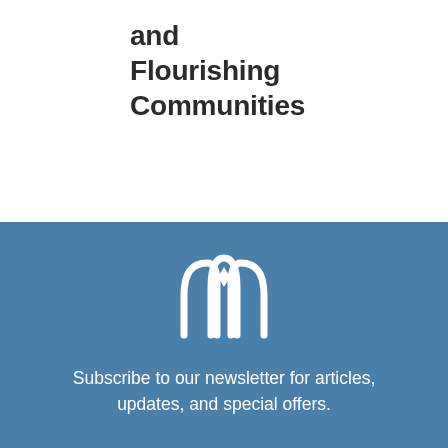and Flourishing Communities
[Figure (logo): White stylized arch/crown logo mark on blue background]
Subscribe to our newsletter for articles, updates, and special offers.